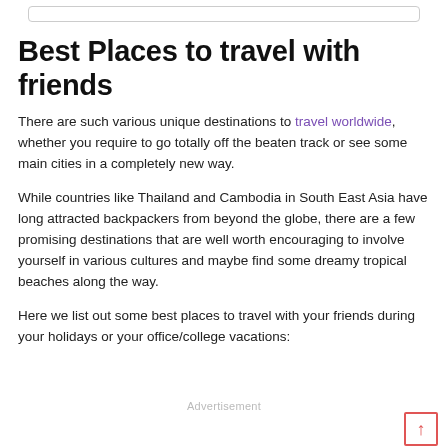Best Places to travel with friends
There are such various unique destinations to travel worldwide, whether you require to go totally off the beaten track or see some main cities in a completely new way.
While countries like Thailand and Cambodia in South East Asia have long attracted backpackers from beyond the globe, there are a few promising destinations that are well worth encouraging to involve yourself in various cultures and maybe find some dreamy tropical beaches along the way.
Here we list out some best places to travel with your friends during your holidays or your office/college vacations:
Advertisement